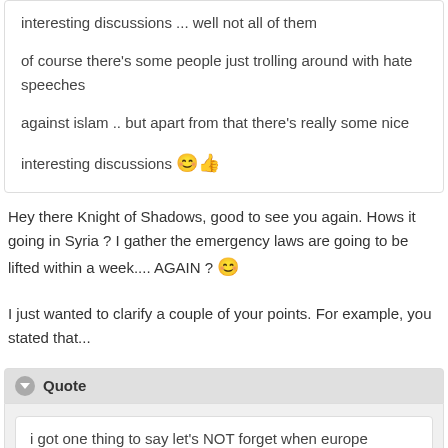interesting discussions ... well not all of them

of course there's some people just trolling around with hate speeches

against islam .. but apart from that there's really some nice

interesting discussions 😊👍
Hey there Knight of Shadows, good to see you again. Hows it going in Syria ? I gather the emergency laws are going to be lifted within a week.... AGAIN ? 😊
I just wanted to clarify a couple of your points. For example, you stated that...
Quote
i got one thing to say let's NOT forget when europe

wasn't able to decide wheather women are human or animal ...

back then in arabic islamic countries